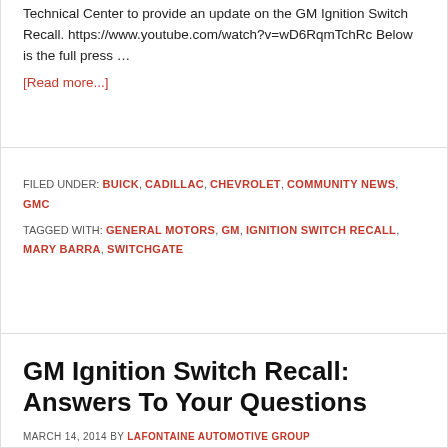Technical Center to provide an update on the GM Ignition Switch Recall. https://www.youtube.com/watch?v=wD6RqmTchRc Below is the full press …
[Read more...]
FILED UNDER: BUICK, CADILLAC, CHEVROLET, COMMUNITY NEWS, GMC
TAGGED WITH: GENERAL MOTORS, GM, IGNITION SWITCH RECALL, MARY BARRA, SWITCHGATE
GM Ignition Switch Recall: Answers To Your Questions
MARCH 14, 2014 BY LAFONTAINE AUTOMOTIVE GROUP